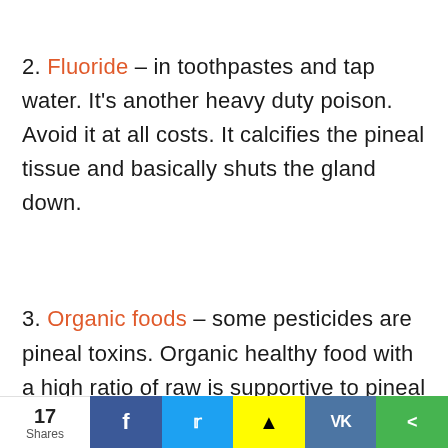2. Fluoride – in toothpastes and tap water. It's another heavy duty poison. Avoid it at all costs. It calcifies the pineal tissue and basically shuts the gland down.
3. Organic foods – some pesticides are pineal toxins. Organic healthy food with a high ratio of raw is supportive to pineal detox. Meat is not helpful either.
17 Shares  f  twitter  snapchat  VK  share